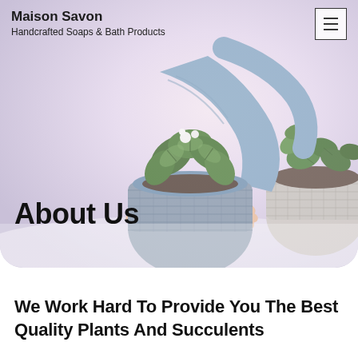Maison Savon
Handcrafted Soaps & Bath Products
[Figure (photo): Person in blue knit sweater holding a leafy green plant in a grey crocheted/woven pot, with another woven pot with plants visible to the right, on a white surface. Hero banner image with soft pink-purple gradient overlay.]
About Us
We Work Hard To Provide You The Best Quality Plants And Succulents